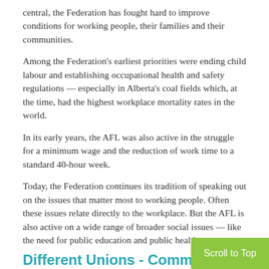central, the Federation has fought hard to improve conditions for working people, their families and their communities.
Among the Federation's earliest priorities were ending child labour and establishing occupational health and safety regulations — especially in Alberta's coal fields which, at the time, had the highest workplace mortality rates in the world.
In its early years, the AFL was also active in the struggle for a minimum wage and the reduction of work time to a standard 40-hour week.
Today, the Federation continues its tradition of speaking out on the issues that matter most to working people. Often these issues relate directly to the workplace. But the AFL is also active on a wide range of broader social issues — like the need for public education and public health care.
Different Unions - Commo